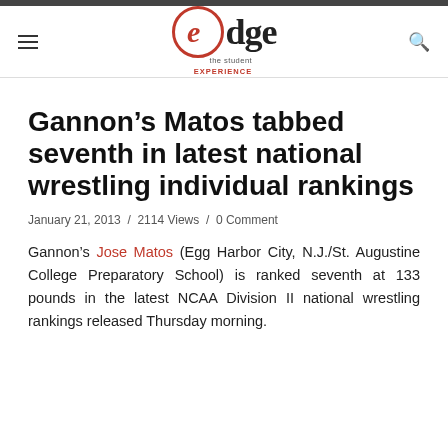edge the student EXPERIENCE
Gannon’s Matos tabbed seventh in latest national wrestling individual rankings
January 21, 2013 / 2114 Views / 0 Comment
Gannon’s Jose Matos (Egg Harbor City, N.J./St. Augustine College Preparatory School) is ranked seventh at 133 pounds in the latest NCAA Division II national wrestling rankings released Thursday morning.